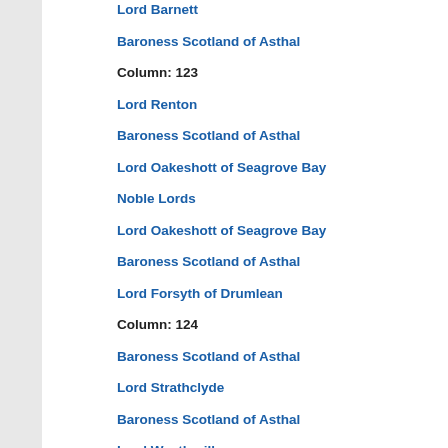Lord Barnett
Baroness Scotland of Asthal
Column: 123
Lord Renton
Baroness Scotland of Asthal
Lord Oakeshott of Seagrove Bay
Noble Lords
Lord Oakeshott of Seagrove Bay
Baroness Scotland of Asthal
Lord Forsyth of Drumlean
Column: 124
Baroness Scotland of Asthal
Lord Strathclyde
Baroness Scotland of Asthal
Lord Weatherill
Baroness Scotland of Asthal
Lord Boston of Faversham